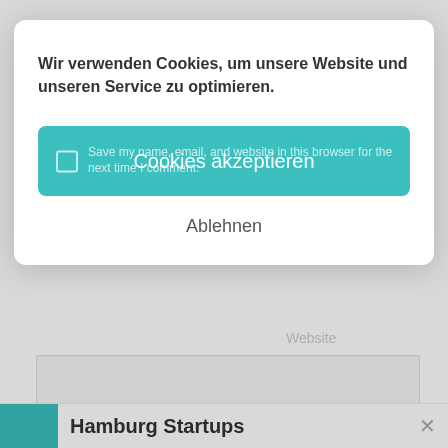Name *
Email *
Website
Wir verwenden Cookies, um unsere Website und unseren Service zu optimieren.
Cookies akzeptieren
Save my name, email, and website in this browser for the next time I comment.
Ablehnen
Hamburg Startups